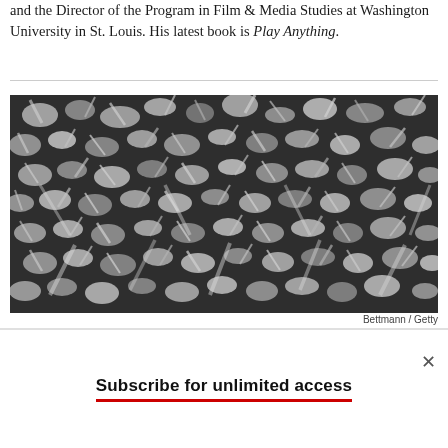and the Director of the Program in Film & Media Studies at Washington University in St. Louis. His latest book is Play Anything.
[Figure (photo): Black and white photograph of a large crowd of people with arms raised, densely packed together, shot from above.]
Bettmann / Getty
Subscribe for unlimited access